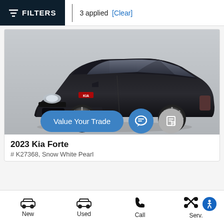FILTERS | 3 applied [Clear]
[Figure (photo): Dark black Kia Forte sedan shown in a 3/4 front view against a light background. The car features chrome alloy wheels, red accent trim on front bumper, and Kia logo on grille.]
2023 Kia Forte
# K27368, Snow White Pearl
New | Used | Call | Serv.